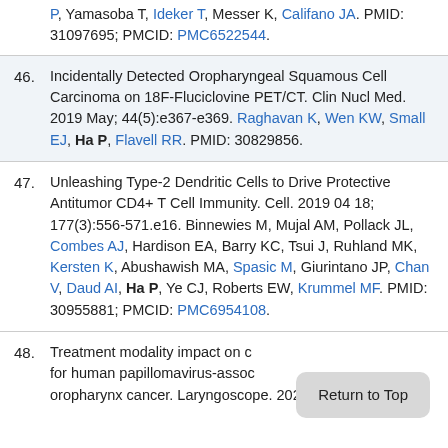P, Yamasoba T, Ideker T, Messer K, Califano JA. PMID: 31097695; PMCID: PMC6522544.
46. Incidentally Detected Oropharyngeal Squamous Cell Carcinoma on 18F-Fluciclovine PET/CT. Clin Nucl Med. 2019 May; 44(5):e367-e369. Raghavan K, Wen KW, Small EJ, Ha P, Flavell RR. PMID: 30829856.
47. Unleashing Type-2 Dendritic Cells to Drive Protective Antitumor CD4+ T Cell Immunity. Cell. 2019 04 18; 177(3):556-571.e16. Binnewies M, Mujal AM, Pollack JL, Combes AJ, Hardison EA, Barry KC, Tsui J, Ruhland MK, Kersten K, Abushawish MA, Spasic M, Giurintano JP, Chan V, Daud AI, Ha P, Ye CJ, Roberts EW, Krummel MF. PMID: 30955881; PMCID: PMC6954108.
48. Treatment modality impact on c... for human papillomavirus-assoc... oropharynx cancer. Laryngoscope. 2020 02;